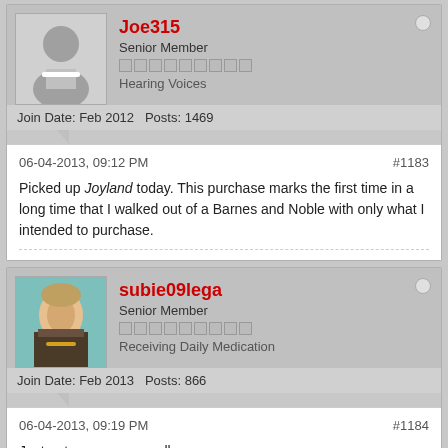[Figure (screenshot): Forum post by Joe315, Senior Member, Hearing Voices, Join Date: Feb 2012, Posts: 1469]
06-04-2013, 09:12 PM
#1183
Picked up Joyland today. This purchase marks the first time in a long time that I walked out of a Barnes and Noble with only what I intended to purchase.
[Figure (screenshot): Forum post by subie09lega, Senior Member, Receiving Daily Medication, Join Date: Feb 2013, Posts: 866]
06-04-2013, 09:19 PM
#1184
Just got my copy as well.
photo.jpg